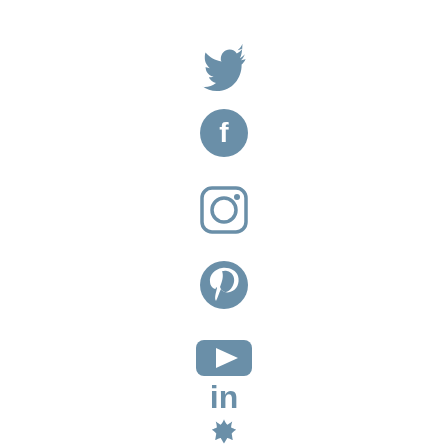[Figure (illustration): Seven social media icons arranged vertically, centered horizontally: Twitter bird, Facebook circle with f, Instagram camera square in circle, Pinterest circle with P, YouTube rounded rectangle with play button, LinkedIn 'in' text, Yelp asterisk/flower. All icons are in a muted steel blue color (#6a90a8) on white background.]